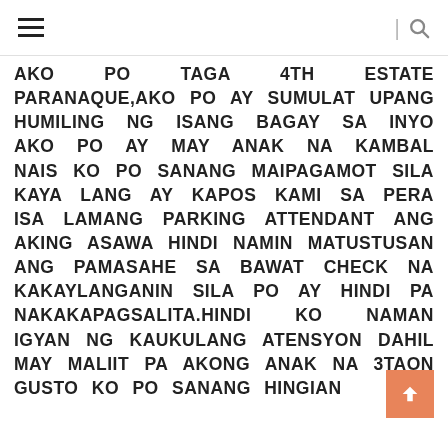≡  | 🔍
AKO PO TAGA 4TH ESTATE PARANAQUE,AKO PO AY SUMULAT UPANG HUMILING NG ISANG BAGAY SA INYO AKO PO AY MAY ANAK NA KAMBAL NAIS KO PO SANANG MAIPAGAMOT SILA KAYA LANG AY KAPOS KAMI SA PERA ISA LAMANG PARKING ATTENDANT ANG AKING ASAWA HINDI NAMIN MATUSTUSAN ANG PAMASAHE SA BAWAT CHECK NA KAKAYLANGANIN SILA PO AY HINDI PA NAKAKAPAGSALITA.HINDI KO NAMAN IGYAN NG KAUKULANG ATENSYON DAHIL MAY MALIIT PA AKONG ANAK NA 3TAON GUSTO KO PO SANANG HINGIAN